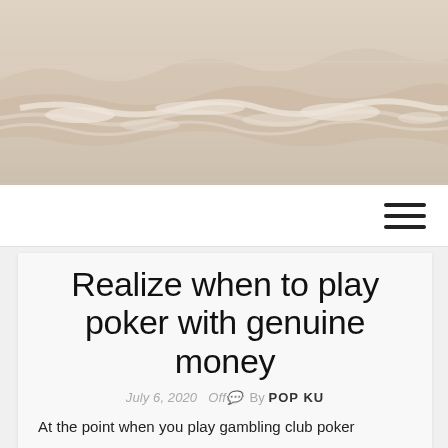[Figure (photo): Sepia-toned beach/ocean scene with waves and foamy water, used as header image]
☰
Realize when to play poker with genuine money
July 6, 2020  Off  By POP KU
At the point when you play gambling club poker